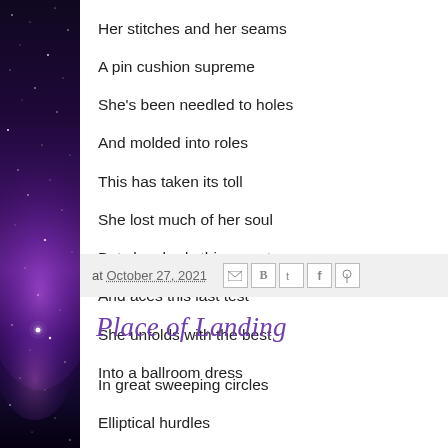[Figure (illustration): Dark space/galaxy sidebar image with purple nebula and stars against black background]
Her stitches and her seams
A pin cushion supreme
She's been needled to holes
And molded into roles
This has taken its toll
She lost much of her soul
But she sheds this corset
And aces this last test
She unfolds with the best
Into a ballroom dress
at October 27, 2021
Place of Landing
In great sweeping circles
Elliptical hurdles
In vortexes, swirls
In helixes, curls
Up rises caduceus
Continue if you miss
You know you can do this